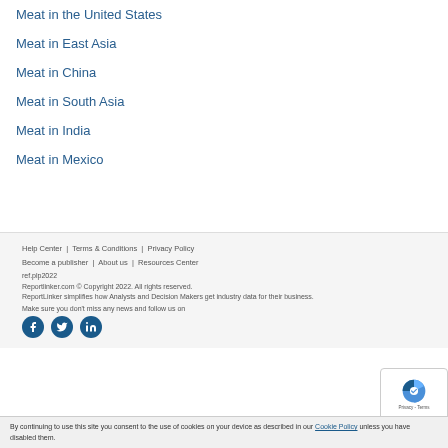Meat in the United States
Meat in East Asia
Meat in China
Meat in South Asia
Meat in India
Meat in Mexico
Help Center | Terms & Conditions | Privacy Policy
Become a publisher | About us | Resources Center
ref.plp2022
Reportlinker.com © Copyright 2022. All rights reserved.
ReportLinker simplifies how Analysts and Decision Makers get industry data for their business.
Make sure you don't miss any news and follow us on
By continuing to use this site you consent to the use of cookies on your device as described in our Cookie Policy unless you have disabled them.